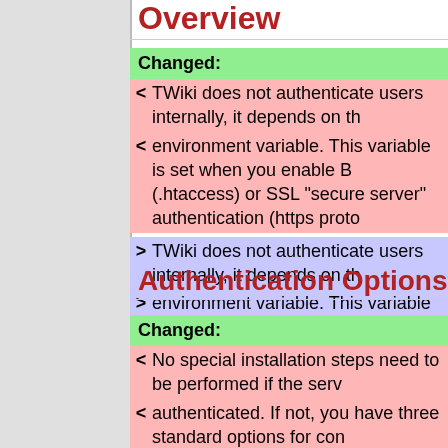Overview
Changed:
< TWiki does not authenticate users internally, it depends on the environment variable. This variable is set when you enable B (.htaccess) or SSL "secure server" authentication (https proto
> TWiki does not authenticate users internally, it depends on the environment variable. This variable is set when you enable B (.htaccess) or SSL "secure server" authentication (https proto
TWiki uses visitor identification to keep track of who made ch time and to manage a wide range of personal site settings. T audit trail of changes and activity.
Authentication Options
Changed:
< No special installation steps need to be performed if the serv authenticated. If not, you have three standard options for con
> No special installation steps are required if the server is alrea isn't, you have three standard options for controlling user acc